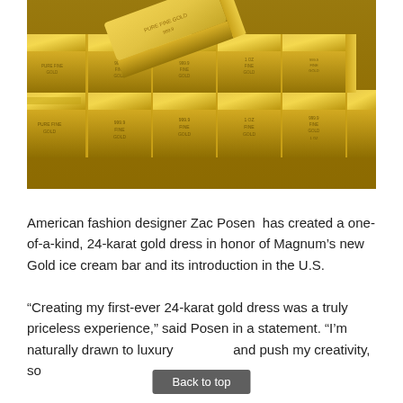[Figure (photo): Close-up photograph of multiple stacked gold bars/bullion with engraved text and markings on their surfaces, shot from above at an angle showing the reflective golden surfaces.]
American fashion designer Zac Posen  has created a one-of-a-kind, 24-karat gold dress in honor of Magnum's new Gold ice cream bar and its introduction in the U.S.
“Creating my first-ever 24-karat gold dress was a truly priceless experience,” said Posen in a statement. “I’m naturally drawn to luxury and push my creativity, so